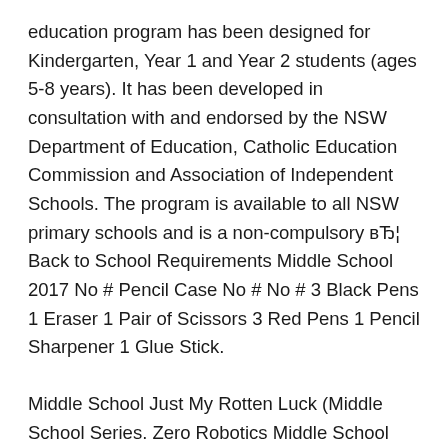education program has been designed for Kindergarten, Year 1 and Year 2 students (ages 5-8 years). It has been developed in consultation with and endorsed by the NSW Department of Education, Catholic Education Commission and Association of Independent Schools. The program is available to all NSW primary schools and is a non-compulsory вЂ¦ Back to School Requirements Middle School 2017 No # Pencil Case No # No # 3 Black Pens 1 Eraser 1 Pair of Scissors 3 Red Pens 1 Pencil Sharpener 1 Glue Stick.
Middle School Just My Rotten Luck (Middle School Series. Zero Robotics Middle School Program Zero Robotics (ZR) is a programming competition where SPHERES satellites inside the International Space Station (ISS) are controlled by programs developed by YOU! You will create, edit, share, save, simulate, and submit programming code in order to accomplish whatever your given task is. Back to School with